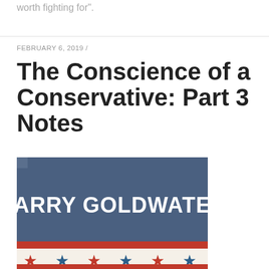worth fighting for".
FEBRUARY 6, 2019 /
The Conscience of a Conservative: Part 3 Notes
[Figure (photo): Book cover of 'The Conscience of a Conservative' by Barry Goldwater. Blue background with white bold text reading 'BARRY GOLDWATER'. Bottom strip shows alternating red and blue stars on a white/cream background with a red stripe, in a patriotic American style.]